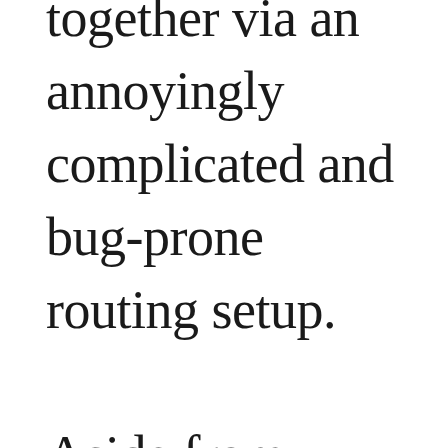together via an annoyingly complicated and bug-prone routing setup.

Aside from